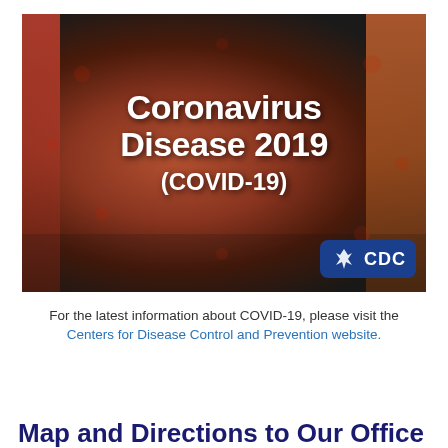[Figure (photo): CDC Coronavirus Disease 2019 (COVID-19) banner image showing a 3D microscopic rendering of a coronavirus particle in red/orange tones with white bold text overlay reading 'Coronavirus Disease 2019 (COVID-19)' and a CDC logo badge in the bottom right corner.]
For the latest information about COVID-19, please visit the Centers for Disease Control and Prevention website.
Map and Directions to Our Office